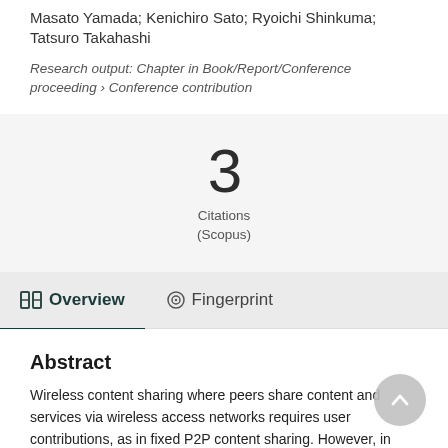Masato Yamada; Kenichiro Sato; Ryoichi Shinkuma; Tatsuro Takahashi
Research output: Chapter in Book/Report/Conference proceeding › Conference contribution
3
Citations
(Scopus)
Overview
Fingerprint
Abstract
Wireless content sharing where peers share content and services via wireless access networks requires user contributions, as in fixed P2P content sharing. However, in wireless access environments, since the resources of